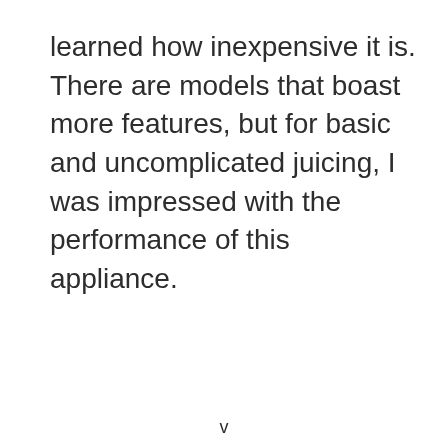learned how inexpensive it is. There are models that boast more features, but for basic and uncomplicated juicing, I was impressed with the performance of this appliance.
v